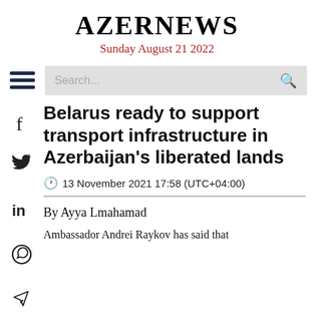AZERNEWS
Sunday August 21 2022
Belarus ready to support transport infrastructure in Azerbaijan's liberated lands
13 November 2021 17:58 (UTC+04:00)
By Ayya Lmahamad
Ambassador Andrei Raykov has said that